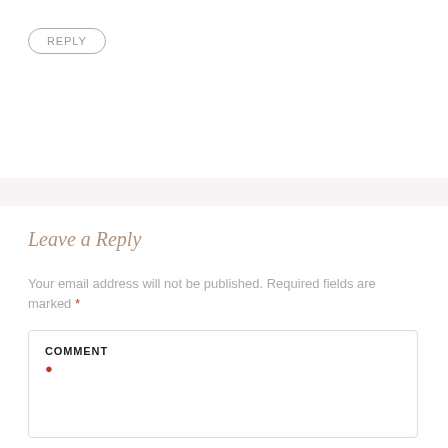REPLY
Leave a Reply
Your email address will not be published. Required fields are marked *
COMMENT *